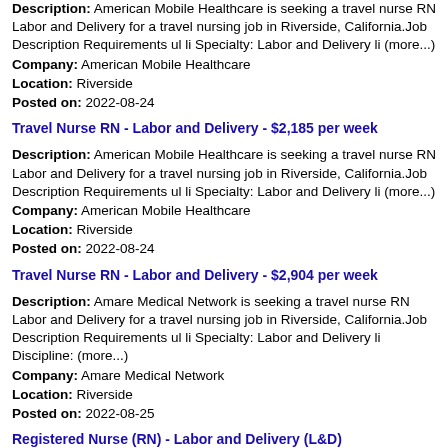Description: American Mobile Healthcare is seeking a travel nurse RN Labor and Delivery for a travel nursing job in Riverside, California.Job Description Requirements ul li Specialty: Labor and Delivery li (more...)
Company: American Mobile Healthcare
Location: Riverside
Posted on: 2022-08-24
Travel Nurse RN - Labor and Delivery - $2,185 per week
Description: American Mobile Healthcare is seeking a travel nurse RN Labor and Delivery for a travel nursing job in Riverside, California.Job Description Requirements ul li Specialty: Labor and Delivery li (more...)
Company: American Mobile Healthcare
Location: Riverside
Posted on: 2022-08-24
Travel Nurse RN - Labor and Delivery - $2,904 per week
Description: Amare Medical Network is seeking a travel nurse RN Labor and Delivery for a travel nursing job in Riverside, California.Job Description Requirements ul li Specialty: Labor and Delivery li Discipline: (more...)
Company: Amare Medical Network
Location: Riverside
Posted on: 2022-08-25
Registered Nurse (RN) - Labor and Delivery (L&D)
Description: Labor and Delivery opening in San Bernardino